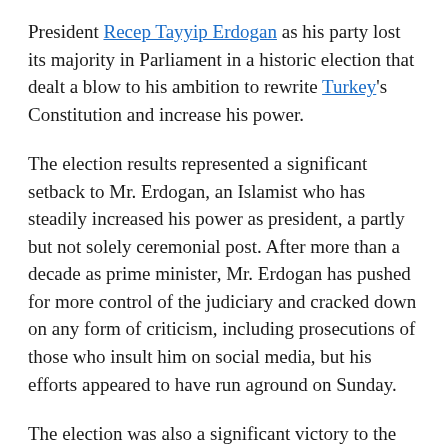President Recep Tayyip Erdogan as his party lost its majority in Parliament in a historic election that dealt a blow to his ambition to rewrite Turkey's Constitution and increase his power.
The election results represented a significant setback to Mr. Erdogan, an Islamist who has steadily increased his power as president, a partly but not solely ceremonial post. After more than a decade as prime minister, Mr. Erdogan has pushed for more control of the judiciary and cracked down on any form of criticism, including prosecutions of those who insult him on social media, but his efforts appeared to have run aground on Sunday.
The election was also a significant victory to the cadre of Kurds, liberals and secular Turks who found their voice of opposition to Mr. Erdogan during sweeping antigovernment protests two years ago.